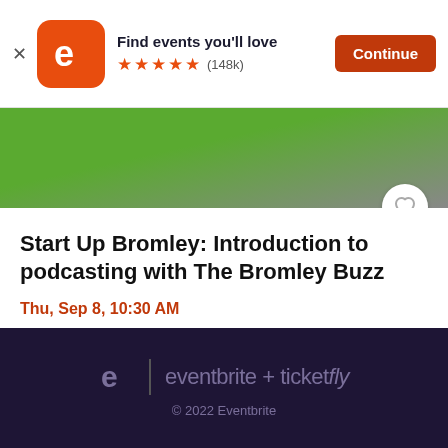[Figure (screenshot): Eventbrite app banner with orange logo, 'Find events you'll love', 5 orange stars, (148k) reviews, and orange Continue button]
[Figure (photo): Partial event header image with green and dark/grey tones, with circular heart favourite button overlay]
Start Up Bromley: Introduction to podcasting with The Bromley Buzz
Thu, Sep 8, 10:30 AM
Central Library • Bromley
Free
eventbrite + ticketfly
© 2022 Eventbrite